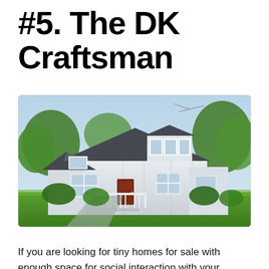#5. The DK Craftsman
[Figure (photo): Exterior rendering of the DK Craftsman tiny home – a white craftsman-style single-story house with a dormer window, front porch with white railings, dark front door, surrounded by green trees and lawn.]
If you are looking for tiny homes for sale with enough space for social interaction with your family. The DK Craftsman may be for you. It is